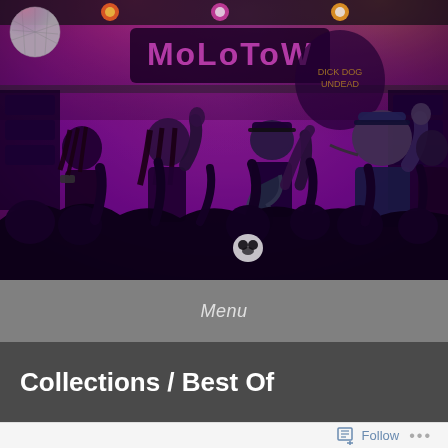[Figure (photo): Concert photo at Molotow venue. Band performing on stage with purple/pink stage lighting. Crowd in foreground with hands raised. Molotow sign visible on stage backdrop. Disco ball in upper left corner.]
Menu
Collections / Best Of
Follow ...